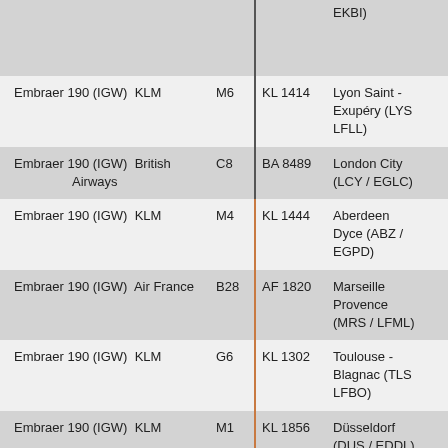| Aircraft / Airline | Gate | Flight | Destination |
| --- | --- | --- | --- |
| (partial row top) |  |  | EKBI) |
| Embraer 190 (IGW)  KLM | M6 | KL 1414 | Lyon Saint - Exupéry (LYS LFLL) |
| Embraer 190 (IGW)  British Airways | C8 | BA 8489 | London City (LCY / EGLC) |
| Embraer 190 (IGW)  KLM | M4 | KL 1444 | Aberdeen Dyce (ABZ / EGPD) |
| Embraer 190 (IGW)  Air France | B28 | AF 1820 | Marseille Provence (MRS / LFML) |
| Embraer 190 (IGW)  KLM | G6 | KL 1302 | Toulouse - Blagnac (TLS LFBO) |
| Embraer 190 (IGW)  KLM | M1 | KL 1856 | Düsseldorf (DUS / EDDL) |